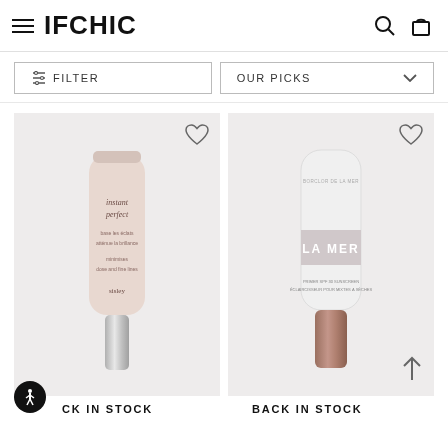IFCHIC
FILTER
OUR PICKS
[Figure (photo): Sisley Instant Perfect face primer tube with silver cap on light pink/grey background, with heart icon top right]
[Figure (photo): La Mer Primer white tube with rose gold cap on light grey background, with heart icon top right and up-arrow icon bottom right]
BACK IN STOCK
BACK IN STOCK